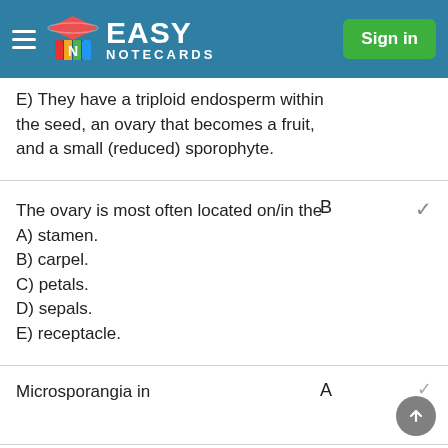Easy Notecards — Sign in
E) They have a triploid endosperm within the seed, an ovary that becomes a fruit, and a small (reduced) sporophyte.
The ovary is most often located on/in the
A) stamen.
B) carpel.
C) petals.
D) sepals.
E) receptacle.
Answer: B
Microsporangia in
Answer: A